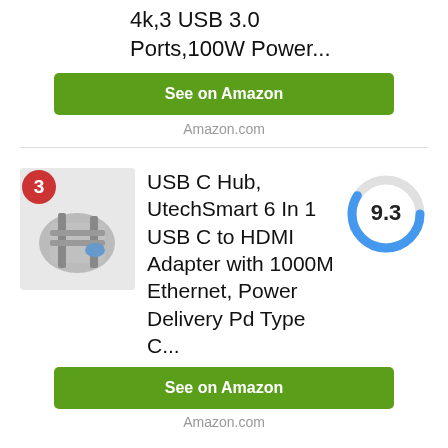4k,3 USB 3.0 Ports,100W Power...
See on Amazon
Amazon.com
USB C Hub, UtechSmart 6 In 1 USB C to HDMI Adapter with 1000M Ethernet, Power Delivery Pd Type C...
[Figure (other): Donut chart showing score 9.3, blue arc on gray circle]
See on Amazon
Amazon.com
Top best port hub with